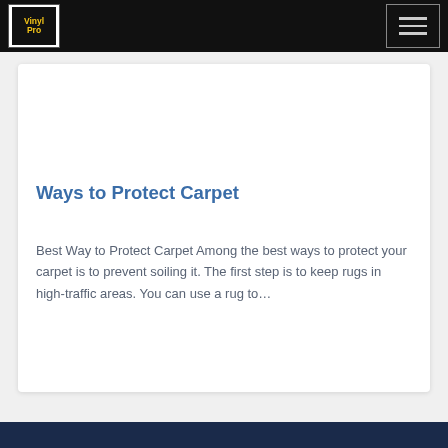Navigation bar with logo and hamburger menu
Ways to Protect Carpet
Best Way to Protect Carpet Among the best ways to protect your carpet is to prevent soiling it. The first step is to keep rugs in high-traffic areas. You can use a rug to…